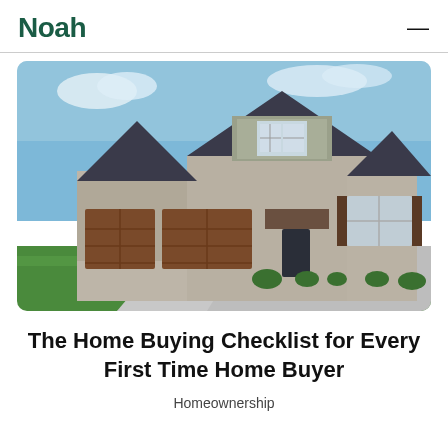Noah
[Figure (photo): Exterior photo of a large two-story craftsman-style house with stone facade, dark wood garage doors (three-car garage), blue sky, and green lawn in the foreground.]
The Home Buying Checklist for Every First Time Home Buyer
Homeownership